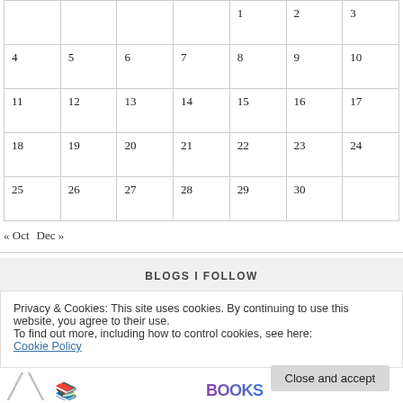|  |  |  |  | 1 | 2 | 3 |
| --- | --- | --- | --- | --- | --- | --- |
| 4 | 5 | 6 | 7 | 8 | 9 | 10 |
| 11 | 12 | 13 | 14 | 15 | 16 | 17 |
| 18 | 19 | 20 | 21 | 22 | 23 | 24 |
| 25 | 26 | 27 | 28 | 29 | 30 |  |
« Oct   Dec »
BLOGS I FOLLOW
Privacy & Cookies: This site uses cookies. By continuing to use this website, you agree to their use.
To find out more, including how to control cookies, see here:
Cookie Policy
Close and accept
[Figure (logo): Partial logos visible at bottom of page]